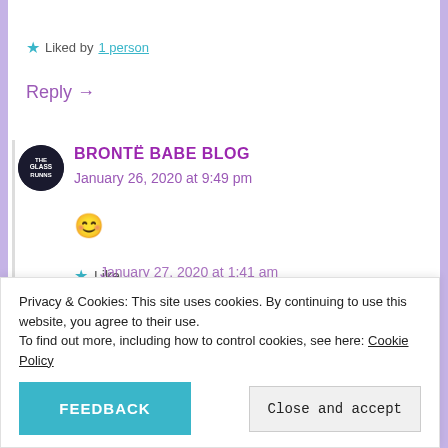★ Liked by 1 person
Reply →
BRONTË BABE BLOG
January 26, 2020 at 9:49 pm
😊
★ Like
Reply →
Privacy & Cookies: This site uses cookies. By continuing to use this website, you agree to their use. To find out more, including how to control cookies, see here: Cookie Policy
FEEDBACK
Close and accept
January 27, 2020 at 1:41 am